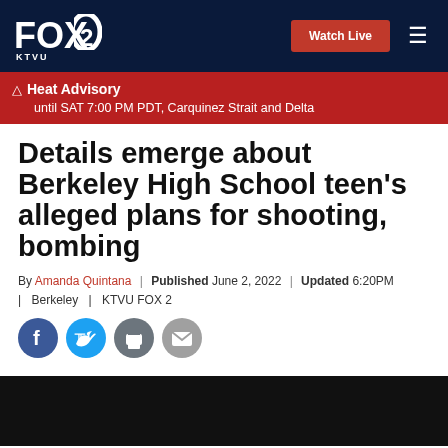FOX 2 KTVU — Watch Live — Navigation
Heat Advisory until SAT 7:00 PM PDT, Carquinez Strait and Delta
Details emerge about Berkeley High School teen's alleged plans for shooting, bombing
By Amanda Quintana | Published June 2, 2022 | Updated 6:20PM | Berkeley | KTVU FOX 2
[Figure (other): Social sharing buttons: Facebook, Twitter, Print, Email]
[Figure (other): Video player thumbnail — dark/black area at bottom of page]